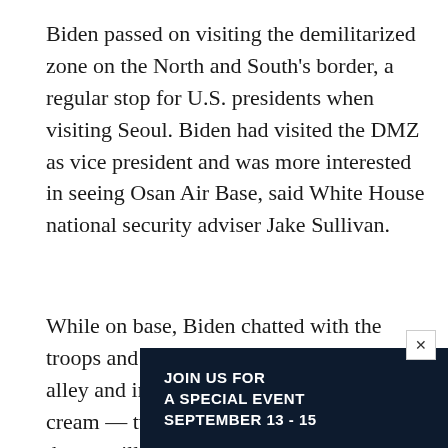Biden passed on visiting the demilitarized zone on the North and South's border, a regular stop for U.S. presidents when visiting Seoul. Biden had visited the DMZ as vice president and was more interested in seeing Osan Air Base, said White House national security adviser Jake Sullivan.
While on base, Biden chatted with the troops and their families at the bowling alley and indulged his passion for ice cream — twice over. First chocolate chip, then vanilla and chocolate.
Biden and Korean President Yoon Sook Yeol on Saturday...
[Figure (other): Advertisement banner: JOIN US FOR A SPECIAL EVENT SEPTEMBER 13 - 15 CLOUD EXCHANGE, dark background with cloud logo graphic]